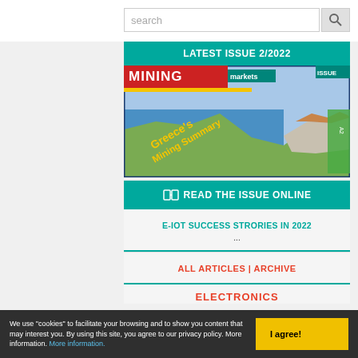search
LATEST ISSUE 2/2022
[Figure (photo): Magazine cover for MINING markets issue 2/2022 showing aerial landscape with mining site and sea, titled "Greece's Mining Summary"]
READ THE ISSUE ONLINE
E-IOT SUCCESS STRORIES IN 2022 ...
ALL ARTICLES | ARCHIVE
ELECTRONICS
We use "cookies" to facilitate your browsing and to show you content that may interest you. By using this site, you agree to our privacy policy. More information. More information.